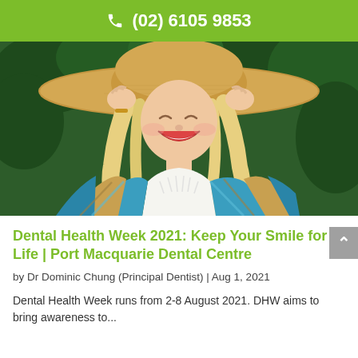(02) 6105 9853
[Figure (photo): Smiling blonde woman wearing a large straw hat and colorful knitted poncho, laughing with eyes closed against a green leafy background.]
Dental Health Week 2021: Keep Your Smile for Life | Port Macquarie Dental Centre
by Dr Dominic Chung (Principal Dentist) | Aug 1, 2021
Dental Health Week runs from 2-8 August 2021. DHW aims to bring awareness to...